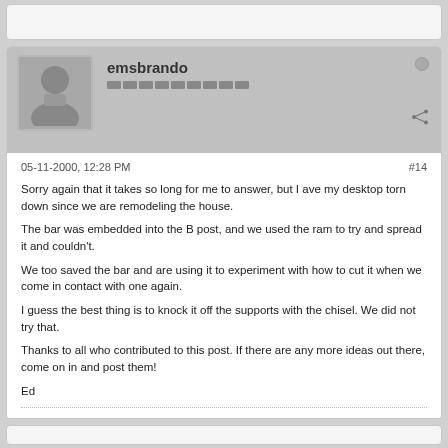[Figure (screenshot): Partial top card of a forum post, cut off at top]
emsbrando
05-11-2000, 12:28 PM
#14
Sorry again that it takes so long for me to answer, but I ave my desktop torn down since we are remodeling the house.
The bar was embedded into the B post, and we used the ram to try and spread it and couldn't.
We too saved the bar and are using it to experiment with how to cut it when we come in contact with one again.
I guess the best thing is to knock it off the supports with the chisel. We did not try that.
Thanks to all who contributed to this post. If there are any more ideas out there, come on in and post them!
Ed